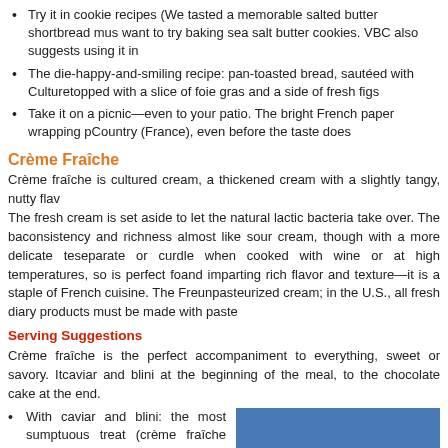Try it in cookie recipes (We tasted a memorable salted butter shortbread m... us want to try baking sea salt butter cookies. VBC also suggests using it in
The die-happy-and-smiling recipe: pan-toasted bread, sautéed with Culture... topped with a slice of foie gras and a side of fresh figs
Take it on a picnic—even to your patio. The bright French paper wrapping p... Country (France), even before the taste does
Crème Fraîche
Crème fraîche is cultured cream, a thickened cream with a slightly tangy, nutty flav... The fresh cream is set aside to let the natural lactic bacteria take over. The ba... consistency and richness almost like sour cream, though with a more delicate te... separate or curdle when cooked with wine or at high temperatures, so is perfect fo... and imparting rich flavor and texture—it is a staple of French cuisine. The Fre... unpasteurized cream; in the U.S., all fresh diary products must be made with paste
Serving Suggestions
Crème fraîche is the perfect accompaniment to everything, sweet or savory. It... caviar and blini at the beginning of the meal, to the chocolate cake at the end.
With caviar and blini: the most sumptuous treat (crème fraîche smoothes out the saltiness of caviar)
Easy hors d'oeuvre: dollop atop a piece of cocktail bread with a slice of smoked salmon
With smoked salmon, capers and
[Figure (photo): A white bowl filled with crème fraîche, photographed from above against a blue background]